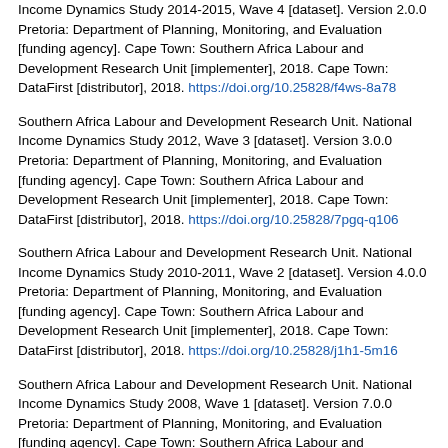Income Dynamics Study 2014-2015, Wave 4 [dataset]. Version 2.0.0 Pretoria: Department of Planning, Monitoring, and Evaluation [funding agency]. Cape Town: Southern Africa Labour and Development Research Unit [implementer], 2018. Cape Town: DataFirst [distributor], 2018. https://doi.org/10.25828/f4ws-8a78
Southern Africa Labour and Development Research Unit. National Income Dynamics Study 2012, Wave 3 [dataset]. Version 3.0.0 Pretoria: Department of Planning, Monitoring, and Evaluation [funding agency]. Cape Town: Southern Africa Labour and Development Research Unit [implementer], 2018. Cape Town: DataFirst [distributor], 2018. https://doi.org/10.25828/7pgq-q106
Southern Africa Labour and Development Research Unit. National Income Dynamics Study 2010-2011, Wave 2 [dataset]. Version 4.0.0 Pretoria: Department of Planning, Monitoring, and Evaluation [funding agency]. Cape Town: Southern Africa Labour and Development Research Unit [implementer], 2018. Cape Town: DataFirst [distributor], 2018. https://doi.org/10.25828/j1h1-5m16
Southern Africa Labour and Development Research Unit. National Income Dynamics Study 2008, Wave 1 [dataset]. Version 7.0.0 Pretoria: Department of Planning, Monitoring, and Evaluation [funding agency]. Cape Town: Southern Africa Labour and Development Research Unit [implementer], 2018. Cape Town: DataFirst [distributor], 2018. https://doi.org/10.25828/e7w9-m033